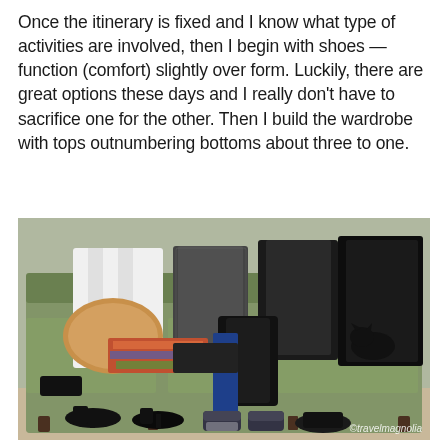Once the itinerary is fixed and I know what type of activities are involved, then I begin with shoes — function (comfort) slightly over form. Luckily, there are great options these days and I really don't have to sacrifice one for the other. Then I build the wardrobe with tops outnumbering bottoms about three to one.
[Figure (photo): A floral-patterned sofa with travel clothing items laid out on it including white shirts, black jackets, a tweed blazer, a tan pillow, colorful scarves, black pants, blue jeans, and a black bag. Several pairs of shoes are arranged on the floor in front of the sofa. A watermark reads ©travelmagnolia.]